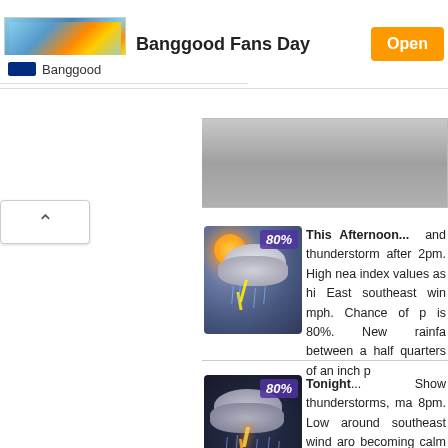[Figure (screenshot): Banggood Fans Day advertisement banner with weather icon image, Open button, and Banggood logo bar]
[Figure (photo): Thunderstorm weather icon with lightning, showing 80% precipitation badge - This Afternoon forecast]
This Afternoon... and thunderstorm after 2pm. High nea index values as hi East southeast win mph. Chance of p is 80%. New rainfa between a half quarters of an inch p
[Figure (photo): Nighttime thunderstorm weather icon with lightning, showing 80% precipitation badge - Tonight forecast]
Tonight... Show thunderstorms, ma 8pm. Low around southeast wind aro becoming calm in th Chance of preci 80%. New rainfa between a quarter an inch possible